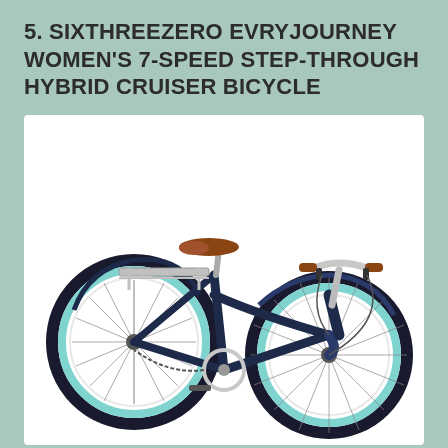5. SIXTHREEZERO EVRYJOURNEY WOMEN'S 7-SPEED STEP-THROUGH HYBRID CRUISER BICYCLE
[Figure (photo): A Sixthreezero EVRYjourney women's 7-speed step-through hybrid cruiser bicycle in navy blue with light teal/mint wheel rims, brown leather seat and handlebar grips, chrome handlebars, rear cargo rack, and full fenders. The bicycle is shown in profile against a white background.]